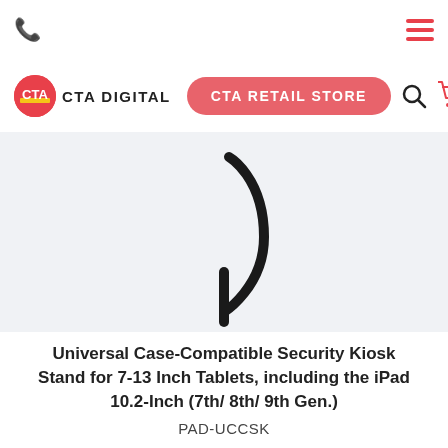phone icon | hamburger menu
[Figure (logo): CTA Digital logo: red circle with CTA text and yellow stripe, followed by CTA DIGITAL text in bold]
CTA RETAIL STORE
[Figure (photo): Partial product image of a tablet security kiosk stand showing a curved arm/neck component against a light gray background]
Universal Case-Compatible Security Kiosk Stand for 7-13 Inch Tablets, including the iPad 10.2-Inch (7th/ 8th/ 9th Gen.)
PAD-UCCSK